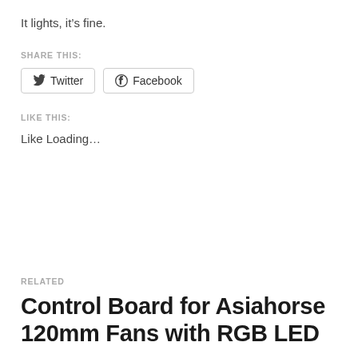It lights, it's fine.
SHARE THIS:
[Figure (other): Share buttons for Twitter and Facebook]
LIKE THIS:
Like Loading…
RELATED
Control Board for Asiahorse 120mm Fans with RGB LED